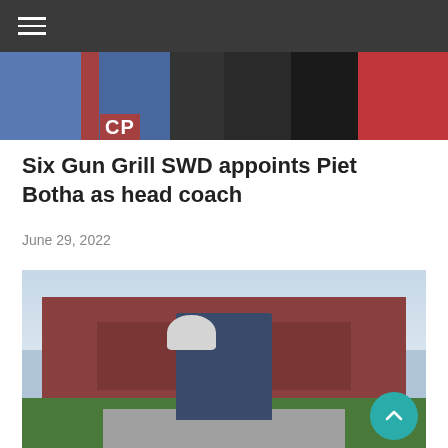Navigation menu
[Figure (photo): Banner image showing people wearing sports jackets/puffer coats in blue, dark, and red colors with a CP badge visible]
Six Gun Grill SWD appoints Piet Botha as head coach
June 29, 2022
[Figure (photo): A golfer holding a large silver trophy cup while sitting on stone steps in front of a large red-brick Tudor-style clubhouse building. The golfer is wearing a blue outfit.]